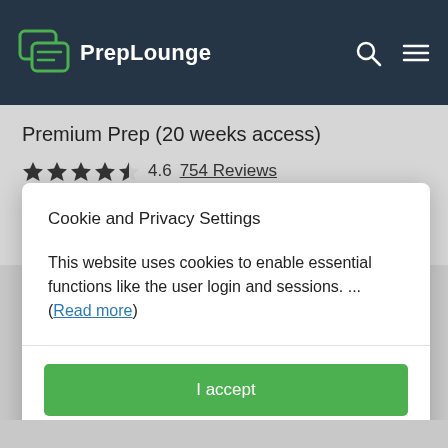PrepLounge
Premium Prep (20 weeks access)
★★★★½ 4.6  754 Reviews
Cookie and Privacy Settings
This website uses cookies to enable essential functions like the user login and sessions. ... (Read more)
I accept
Manage settings individually